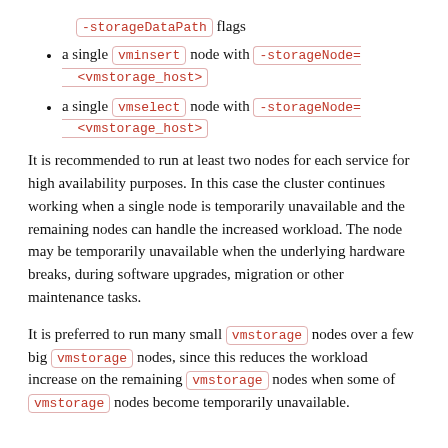-storageDataPath flags
a single vminsert node with -storageNode=<vmstorage_host>
a single vmselect node with -storageNode=<vmstorage_host>
It is recommended to run at least two nodes for each service for high availability purposes. In this case the cluster continues working when a single node is temporarily unavailable and the remaining nodes can handle the increased workload. The node may be temporarily unavailable when the underlying hardware breaks, during software upgrades, migration or other maintenance tasks.
It is preferred to run many small vmstorage nodes over a few big vmstorage nodes, since this reduces the workload increase on the remaining vmstorage nodes when some of vmstorage nodes become temporarily unavailable.